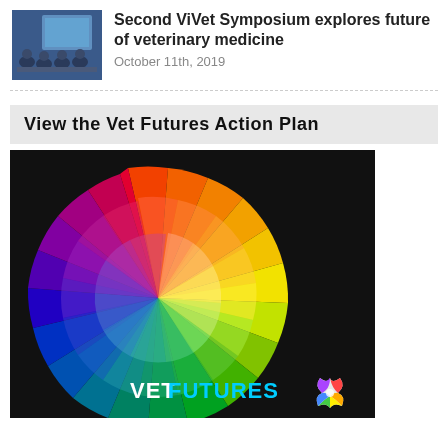[Figure (photo): Thumbnail photo of a conference/symposium room with blue screen/presentation visible]
Second ViVet Symposium explores future of veterinary medicine
October 11th, 2019
View the Vet Futures Action Plan
[Figure (illustration): Vet Futures Action Plan cover image: colorful pinwheel/radial spectrum design on dark background with VETFUTURES logo and star icon in bottom right]